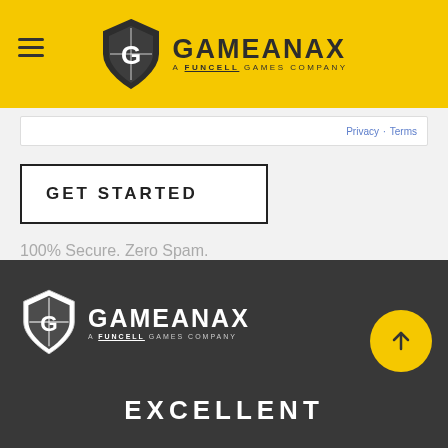GAMEANAX — A funcell GAMES COMPANY
Privacy · Terms
GET STARTED
100% Secure. Zero Spam.
[Figure (logo): GAMEANAX logo — shield icon with 'G' mark and tagline 'a funcell games company', white on dark background]
EXCELLENT